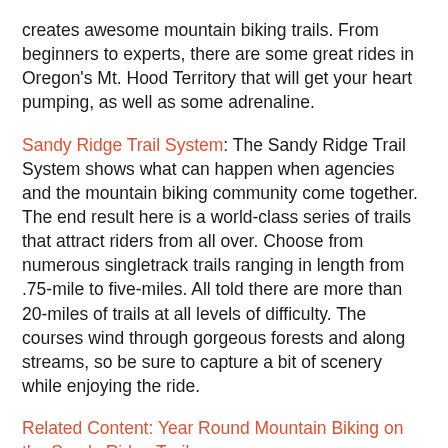creates awesome mountain biking trails. From beginners to experts, there are some great rides in Oregon's Mt. Hood Territory that will get your heart pumping, as well as some adrenaline.
Sandy Ridge Trail System: The Sandy Ridge Trail System shows what can happen when agencies and the mountain biking community come together. The end result here is a world-class series of trails that attract riders from all over. Choose from numerous singletrack trails ranging in length from .75-mile to five-miles. All told there are more than 20-miles of trails at all levels of difficulty. The courses wind through gorgeous forests and along streams, so be sure to capture a bit of scenery while enjoying the ride.
Related Content: Year Round Mountain Biking on the Sandy Ridge Trail
Mt. Hood Skibowl: Take in the view as the 1,500 foot chairlift transports you (and your bike) up to Mt. Hood